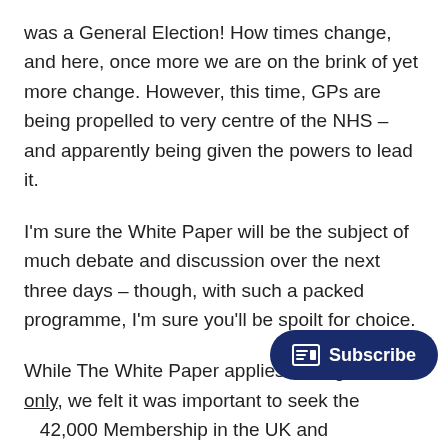was a General Election! How times change, and here, once more we are on the brink of yet more change. However, this time, GPs are being propelled to very centre of the NHS – and apparently being given the powers to lead it.
I'm sure the White Paper will be the subject of much debate and discussion over the next three days – though, with such a packed programme, I'm sure you'll be spoilt for choice.
While The White Paper applies to England only, we felt it was important to seek the [views of our] 42,000 Membership in the UK and internationally. We received a terrific response and I'd like to thank